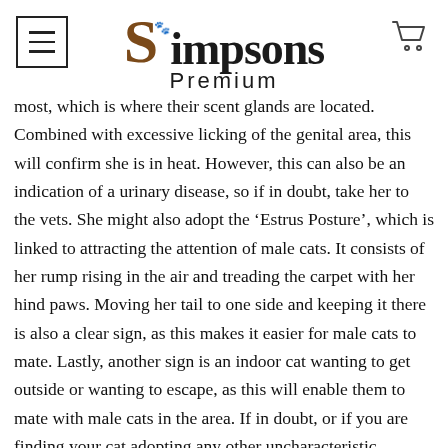Simpsons Premium
most, which is where their scent glands are located. Combined with excessive licking of the genital area, this will confirm she is in heat. However, this can also be an indication of a urinary disease, so if in doubt, take her to the vets. She might also adopt the ‘Estrus Posture’, which is linked to attracting the attention of male cats. It consists of her rump rising in the air and treading the carpet with her hind paws. Moving her tail to one side and keeping it there is also a clear sign, as this makes it easier for male cats to mate. Lastly, another sign is an indoor cat wanting to get outside or wanting to escape, as this will enable them to mate with male cats in the area. If in doubt, or if you are finding your cat adopting any other uncharacteristic behaviour, speak to your vet at once. For further advice regarding your cat, head over to the Simpsons Premium Advice Centre.